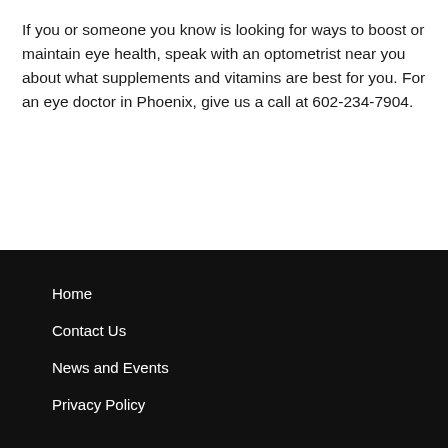If you or someone you know is looking for ways to boost or maintain eye health, speak with an optometrist near you about what supplements and vitamins are best for you. For an eye doctor in Phoenix, give us a call at 602-234-7904.
Home
Contact Us
News and Events
Privacy Policy